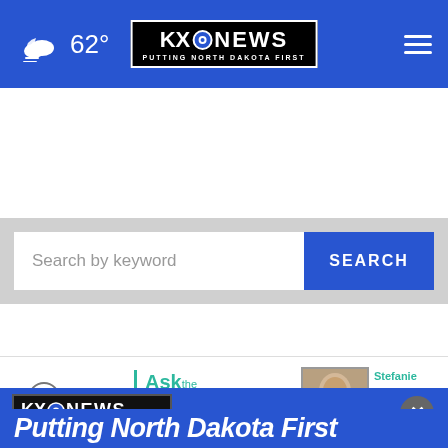62° KXO NEWS — PUTTING NORTH DAKOTA FIRST
[Figure (screenshot): Search bar with 'Search by keyword' placeholder and blue SEARCH button]
[Figure (infographic): Gateway Pharmacy advertisement: Ask the Pharmacist, Studio 701, Plantar warts? We can help!, Stefanie Pharm.D. Gateway Pharmacy South]
[Figure (screenshot): KXO News popup overlay with close button, Alzheimer's advertisement, and 'Putting North Dakota First' text at bottom]